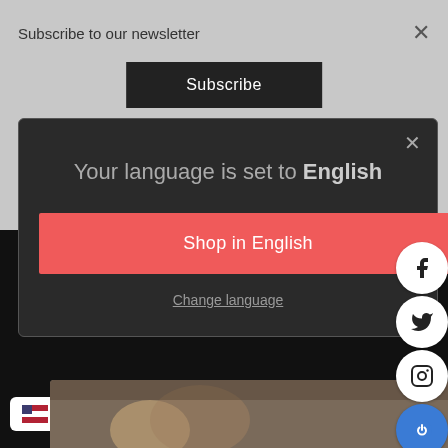Subscribe to our newsletter
×
Subscribe
×
Your language is set to English
Shop in English
Change language
USD >
[Figure (screenshot): Social media icons (Facebook, Twitter, Instagram, Power/Patreon) as circular white badges on right side]
[Figure (photo): Partial view of person near a vehicle at bottom of page]